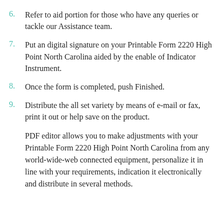6. Refer to aid portion for those who have any queries or tackle our Assistance team.
7. Put an digital signature on your Printable Form 2220 High Point North Carolina aided by the enable of Indicator Instrument.
8. Once the form is completed, push Finished.
9. Distribute the all set variety by means of e-mail or fax, print it out or help save on the product.
PDF editor allows you to make adjustments with your Printable Form 2220 High Point North Carolina from any world-wide-web connected equipment, personalize it in line with your requirements, indication it electronically and distribute in several methods.